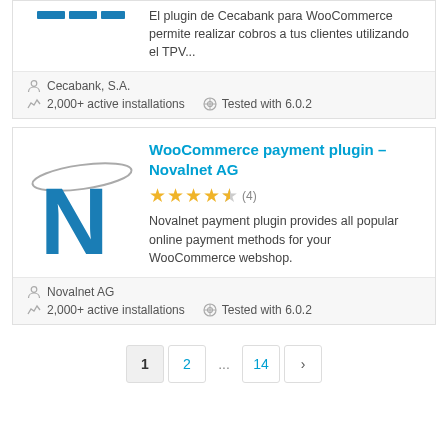El plugin de Cecabank para WooCommerce permite realizar cobros a tus clientes utilizando el TPV...
Cecabank, S.A.
2,000+ active installations  Tested with 6.0.2
WooCommerce payment plugin – Novalnet AG
★★★★½ (4)
Novalnet payment plugin provides all popular online payment methods for your WooCommerce webshop.
Novalnet AG
2,000+ active installations  Tested with 6.0.2
1  2  ...  14  ›